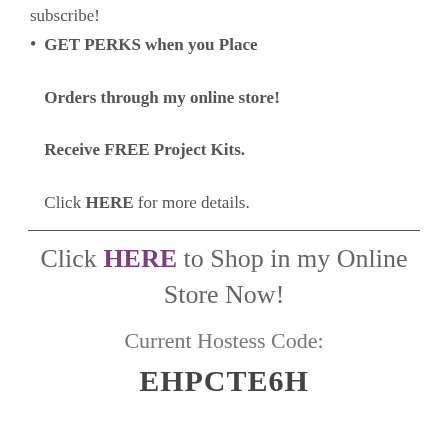subscribe!
GET PERKS when you Place Orders through my online store! Receive FREE Project Kits. Click HERE for more details.
Click HERE to Shop in my Online Store Now!
Current Hostess Code:
EHPCTE6H